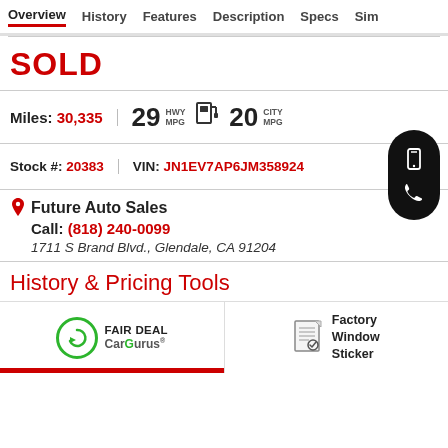Overview | History | Features | Description | Specs | Sim
SOLD
Miles: 30,335  29 HWY MPG  20 CITY MPG
Stock #: 20383  VIN: JN1EV7AP6JM358924
Future Auto Sales
Call: (818) 240-0099
1711 S Brand Blvd., Glendale, CA 91204
History & Pricing Tools
[Figure (logo): CarGurus Fair Deal badge with green circular arrow logo]
[Figure (other): Factory Window Sticker icon with document image]